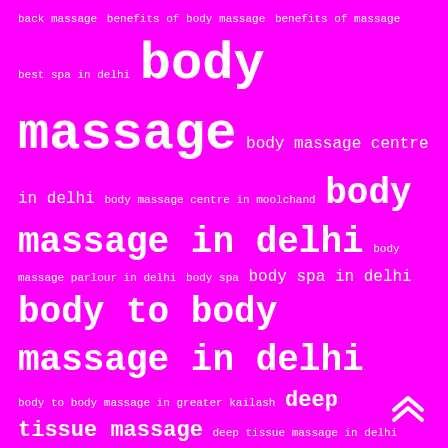[Figure (infographic): Tag cloud on magenta/fuchsia background with white text. Terms related to body massage and spa services in Delhi, displayed at varying font sizes indicating frequency/importance. Largest terms: 'body massage in delhi', 'body to body massage in delhi', 'massage in delhi', 'massage parlour in'. A double up-arrow navigation icon appears at the bottom right.]